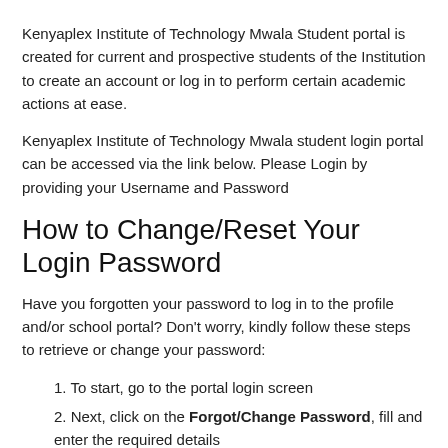Kenyaplex Institute of Technology Mwala Student portal is created for current and prospective students of the Institution to create an account or log in to perform certain academic actions at ease.
Kenyaplex Institute of Technology Mwala student login portal can be accessed via the link below. Please Login by providing your Username and Password
How to Change/Reset Your Login Password
Have you forgotten your password to log in to the profile and/or school portal? Don't worry, kindly follow these steps to retrieve or change your password:
To start, go to the portal login screen
Next, click on the Forgot/Change Password, fill and enter the required details